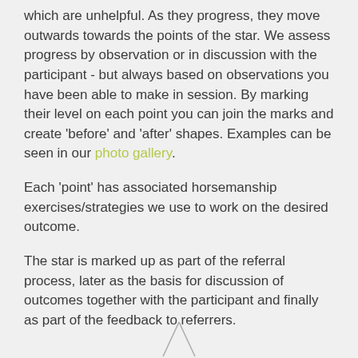which are unhelpful. As they progress, they move outwards towards the points of the star. We assess progress by observation or in discussion with the participant - but always based on observations you have been able to make in session. By marking their level on each point you can join the marks and create 'before' and 'after' shapes. Examples can be seen in our photo gallery.
Each 'point' has associated horsemanship exercises/strategies we use to work on the desired outcome.
The star is marked up as part of the referral process, later as the basis for discussion of outcomes together with the participant and finally as part of the feedback to referrers.
[Figure (illustration): Partial view of a star diagram or chart at the bottom of the page, only the top portion visible]